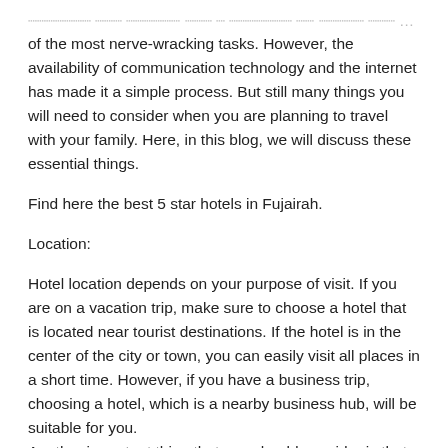...choosing the right hotel for a vacation or picnic trip is one of the most nerve-wracking tasks. However, the availability of communication technology and the internet has made it a simple process. But still many things you will need to consider when you are planning to travel with your family. Here, in this blog, we will discuss these essential things.
Find here the best 5 star hotels in Fujairah.
Location:
Hotel location depends on your purpose of visit. If you are on a vacation trip, make sure to choose a hotel that is located near tourist destinations. If the hotel is in the center of the city or town, you can easily visit all places in a short time. However, if you have a business trip, choosing a hotel, which is a nearby business hub, will be suitable for you. Another important thing that you should consider is that